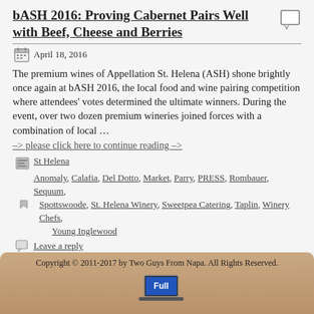bASH 2016: Proving Cabernet Pairs Well with Beef, Cheese and Berries
April 18, 2016
The premium wines of Appellation St. Helena (ASH) shone brightly once again at bASH 2016, the local food and wine pairing competition where attendees’ votes determined the ultimate winners. During the event, over two dozen premium wineries joined forces with a combination of local …
–> please click here to continue reading –>
St Helena
Anomaly, Calafia, Del Dotto, Market, Parry, PRESS, Rombauer, Sequum, Spottswoode, St. Helena Winery, Sweetpea Catering, Taplin, Winery Chefs, Young Inglewood
Leave a reply
← Older posts
Copyright © 2011-2017 by Two Guys From Napa. All Rights Reserved.